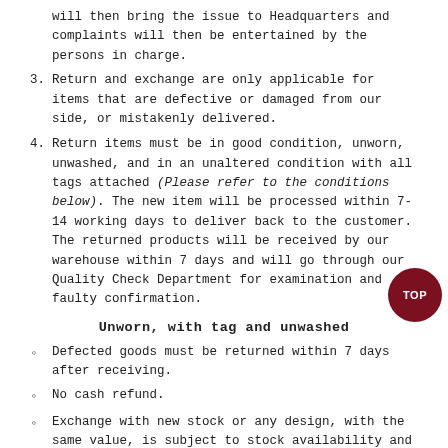will then bring the issue to Headquarters and complaints will then be entertained by the persons in charge.
3. Return and exchange are only applicable for items that are defective or damaged from our side, or mistakenly delivered.
4. Return items must be in good condition, unworn, unwashed, and in an unaltered condition with all tags attached (Please refer to the conditions below). The new item will be processed within 7-14 working days to deliver back to the customer. The returned products will be received by our warehouse within 7 days and will go through our Quality Check Department for examination and faulty confirmation.
Unworn, with tag and unwashed
Defected goods must be returned within 7 days after receiving.
No cash refund.
Exchange with new stock or any design, with the same value, is subject to stock availability and faulty confirmation from the Quality Check Department.
Unworn, without tag and washed